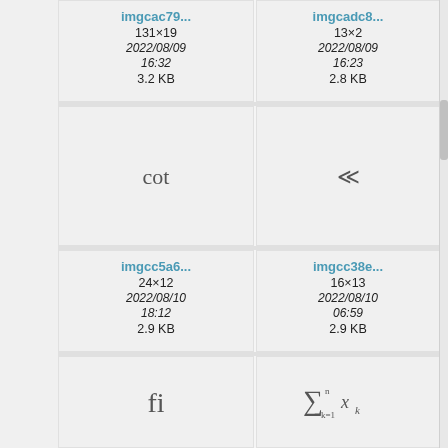[Figure (screenshot): File browser grid showing math symbol image files. Row 1: imgcac79... (131×19, 2022/08/09 16:32, 3.2 KB), imgcadc8... (13×2, 2022/08/09 16:23, 2.8 KB), partial third cell. Row 2: preview cells showing 'cot' and '≪' symbols. Row 3: imgcc5a6... (24×12, 2022/08/10 18:12, 2.9 KB), imgcc38e... (16×13, 2022/08/10 06:59, 2.9 KB), partial third cell. Row 4: preview cells showing 'fi' and sum formula.]